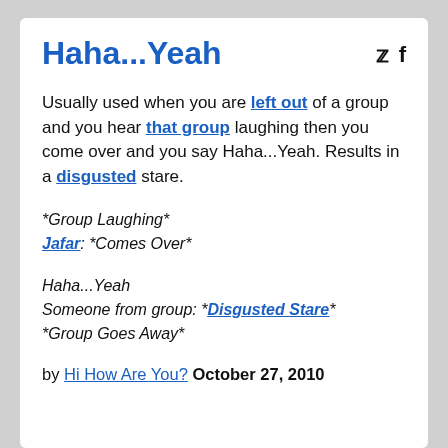Haha...Yeah
Usually used when you are left out of a group and you hear that group laughing then you come over and you say Haha...Yeah. Results in a disgusted stare.
*Group Laughing*
Jafar: *Comes Over*
Haha...Yeah
Someone from group: *Disgusted Stare*
*Group Goes Away*
by Hi How Are You? October 27, 2010